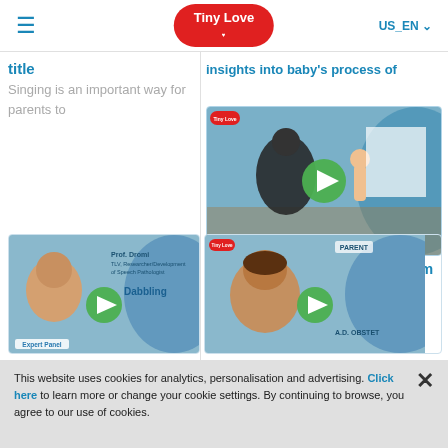Tiny Love - US_EN
Singing is an important way for parents to
insights into baby's process of
[Figure (screenshot): Video thumbnail showing woman and baby, with green play button overlay]
Baby Standing Up - Michal Noam
The exciting process baby goes through
[Figure (screenshot): Video thumbnail with Prof. Dromi expert panel, dabbling topic, green play button]
[Figure (screenshot): Video thumbnail with parent figure and green play button]
This website uses cookies for analytics, personalisation and advertising. Click here to learn more or change your cookie settings. By continuing to browse, you agree to our use of cookies.